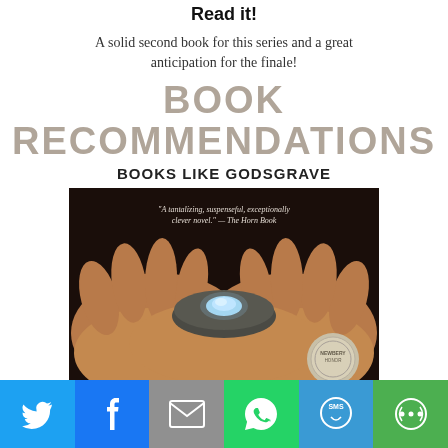Read it!
A solid second book for this series and a great anticipation for the finale!
BOOK RECOMMENDATIONS
BOOKS LIKE GODSGRAVE
[Figure (photo): Book cover showing two cupped hands holding a glowing blue stone/pebble, with a quote at the top and a medallion in the lower right corner.]
[Figure (infographic): Social media share bar with Twitter, Facebook, Email, WhatsApp, SMS, and More buttons.]